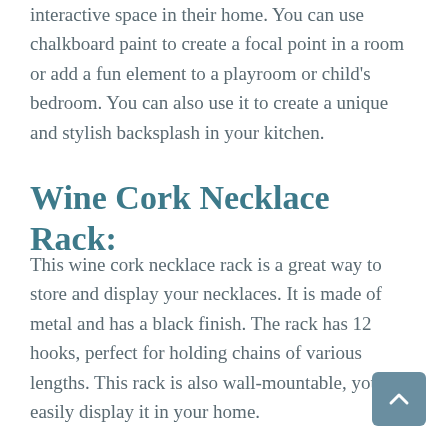interactive space in their home. You can use chalkboard paint to create a focal point in a room or add a fun element to a playroom or child's bedroom. You can also use it to create a unique and stylish backsplash in your kitchen.
Wine Cork Necklace Rack:
This wine cork necklace rack is a great way to store and display your necklaces. It is made of metal and has a black finish. The rack has 12 hooks, perfect for holding chains of various lengths. This rack is also wall-mountable, you can easily display it in your home.